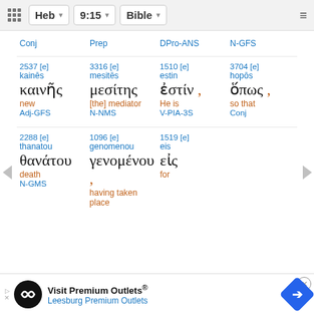Heb 9:15 Bible
Conj | Prep | DPro-ANS | N-GFS
2537 [e] kainēs καινῆς new Adj-GFS | 3316 [e] mesitēs μεσίτης [the] mediator N-NMS | 1510 [e] estin ἐστίν , He is V-PIA-3S | 3704 [e] hopōs ὅπως , so that Conj
2288 [e] thanatou θανάτου death N-GMS | 1096 [e] genomenou γενομένου , having taken place | 1519 [e] eis εἰς for
[Figure (screenshot): Advertisement banner: Visit Premium Outlets® Leesburg Premium Outlets]